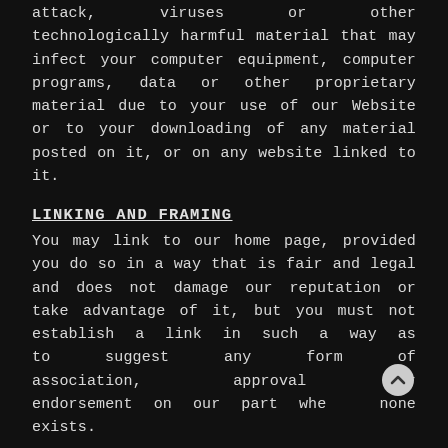attack, viruses or other technologically harmful material that may infect your computer equipment, computer programs, data or other proprietary material due to your use of our Website or to your downloading of any material posted on it, or on any website linked to it.
LINKING AND FRAMING
You may link to our home page, provided you do so in a way that is fair and legal and does not damage our reputation or take advantage of it, but you must not establish a link in such a way as to suggest any form of association, approval or endorsement on our part where none exists.